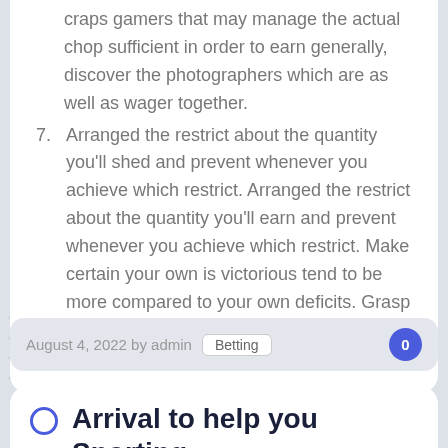craps gamers that may manage the actual chop sufficient in order to earn generally, discover the photographers which are as well as wager together.
7. Arranged the restrict about the quantity you'll shed and prevent whenever you achieve which restrict. Arranged the restrict about the quantity you'll earn and prevent whenever you achieve which restrict. Make certain your own is victorious tend to be more compared to your own deficits. Grasp this particular self-discipline, as well as your achievement is actually assured.
August 4, 2022 by admin   Betting
Arrival to help you Sporting